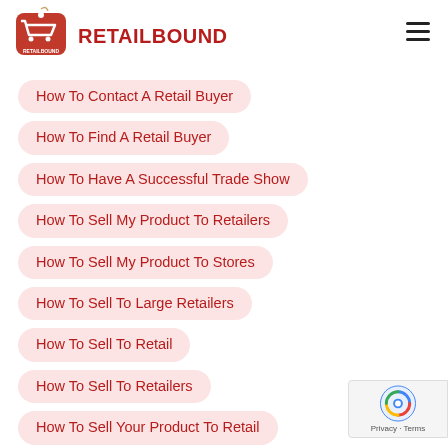[Figure (logo): Retailbound logo: red price tag with shopping cart icon and string]
RETAILBOUND
How To Contact A Retail Buyer
How To Find A Retail Buyer
How To Have A Successful Trade Show
How To Sell My Product To Retailers
How To Sell My Product To Stores
How To Sell To Large Retailers
How To Sell To Retail
How To Sell To Retailers
How To Sell Your Product To Retail
[Figure (other): reCAPTCHA badge with Privacy and Terms text]